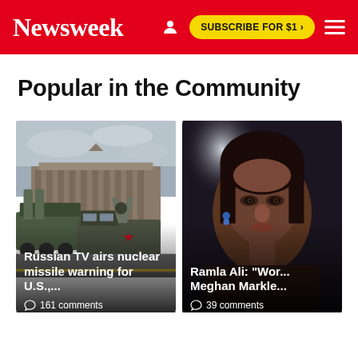Newsweek | SUBSCRIBE FOR $1 >
Popular in the Community
[Figure (photo): Russian military parade showing missile launcher and military vehicle in front of GUM department store on Red Square, Moscow]
Russian TV airs nuclear missile warning for U.S.,...
161 comments
[Figure (photo): Portrait of Ramla Ali, close-up face shot]
Ramla Ali: "Wor... Meghan Markle..."
39 comments